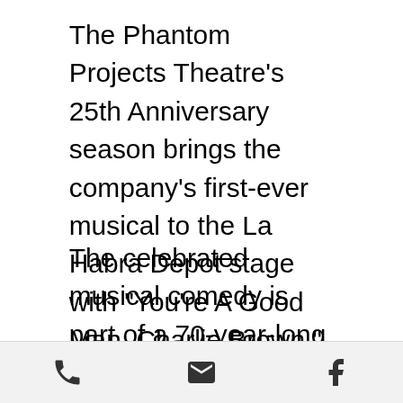The Phantom Projects Theatre's 25th Anniversary season brings the company's first-ever musical to the La Habra Depot stage with "You're A Good Man, Charlie Brown," playing from May 13-29, 2022.
The celebrated musical comedy is part of a 70-year-long collection of stories based on Charles M. Schulz's beloved comic strip Peanuts, set in a world of only children where the adults are unseen and unheard. Led by our favorite "lovable loser" Charlie Brown, Peanuts was also notably one of the first...
[phone icon] [email icon] [facebook icon]